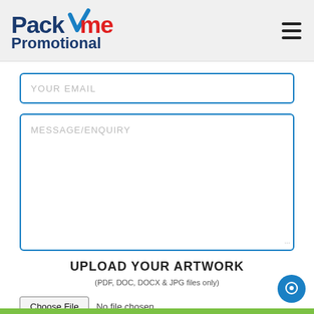[Figure (logo): PackMe Promotional logo with blue and red checkmark]
YOUR EMAIL
MESSAGE/ENQUIRY
UPLOAD YOUR ARTWORK
(PDF, DOC, DOCX & JPG files only)
Choose File  No file chosen